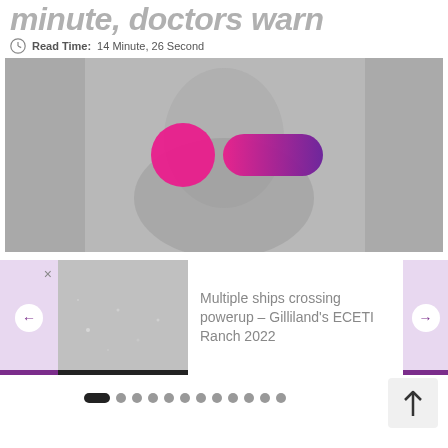minute, doctors warn
Read Time: 14 Minute, 26 Second
[Figure (photo): Grayscale photo of a man's face with pink circle and pink-to-purple pill shape overlaid on eyes area]
Multiple ships crossing powerup – Gilliland's ECETI Ranch 2022
[Figure (photo): Small thumbnail image, dark gray with light speckles]